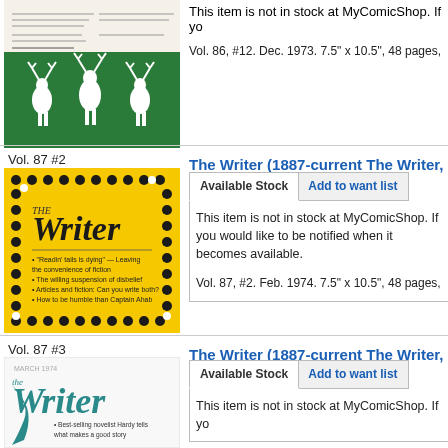[Figure (illustration): Magazine cover - The Writer Vol. 86 #12, green background with white reindeer silhouettes]
This item is not in stock at MyComicShop. If you would like to be notified when it becomes available.
Vol. 86, #12. Dec. 1973. 7.5" x 10.5", 48 pages,
Vol. 87 #2
[Figure (illustration): Magazine cover - The Writer Vol. 87 #2, yellow background with black dots border pattern]
The Writer (1887-current The Writer, Inc
Available Stock
Add to want list
This item is not in stock at MyComicShop. If you would like to be notified when it becomes available.
Vol. 87, #2. Feb. 1974. 7.5" x 10.5", 48 pages,
Vol. 87 #3
[Figure (illustration): Magazine cover - The Writer Vol. 87 #3, white background with teal Writer logo]
The Writer (1887-current The Writer, Inc
Available Stock
Add to want list
This item is not in stock at MyComicShop. If yo